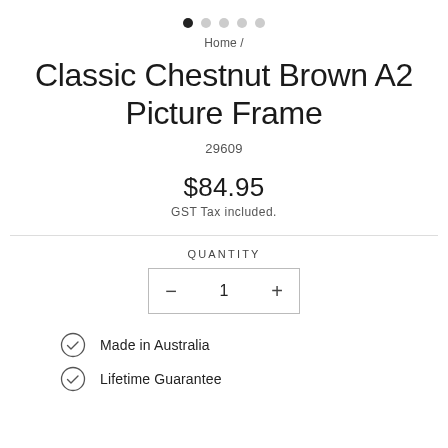[Figure (other): Pagination dots: one filled black dot followed by four light grey dots in a horizontal row]
Home /
Classic Chestnut Brown A2 Picture Frame
29609
$84.95
GST Tax included.
QUANTITY
− 1 +
Made in Australia
Lifetime Guarantee